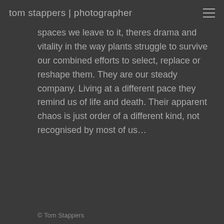tom stappers | photographer
spaces we leave to it, theres drama and vitality in the way plants struggle to survive our combined efforts to select, replace or reshape them. They are our steady company. Living at a different pace they remind us of life and death. Their apparent chaos is just order of a different kind, not recognised by most of us…
© Tom Stappers